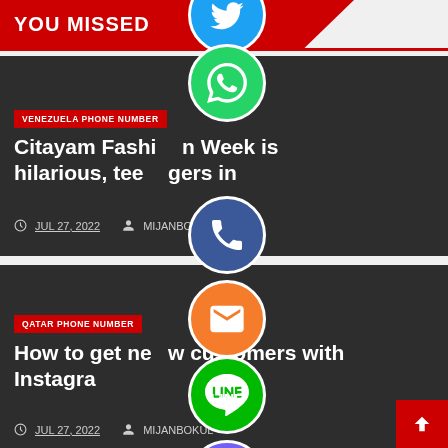YOU MISSED
[Figure (other): Social share sidebar with WhatsApp, phone/Facebook, email, LINE, Viber, and close buttons as circular icons overlaid on the page]
VENEZUELA PHONE NUMBER
Citayam Fashion Week is hilarious, teenagers in
JUL 27, 2022  MIJANBOKUL
QATAR PHONE NUMBER
How to get new customers with Instagram
JUL 27, 2022  MIJANBOKUL